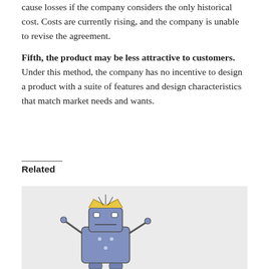cause losses if the company considers the only historical cost. Costs are currently rising, and the company is unable to revise the agreement.
Fifth, the product may be less attractive to customers. Under this method, the company has no incentive to design a product with a suite of features and design characteristics that match market needs and wants.
Related
[Figure (illustration): Illustration of a cartoon robot character with a crown, arms raised, on a light grey background.]